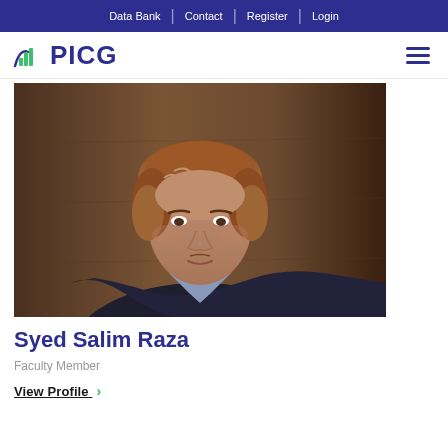Data Bank | Contact | Register | Login
[Figure (logo): PICG logo with green bar chart icon and dark blue text]
[Figure (photo): Portrait photo of Syed Salim Raza, a middle-aged man with brown hair, wearing a dark blazer, against a brown wall background]
Syed Salim Raza
Faculty Member
View Profile >